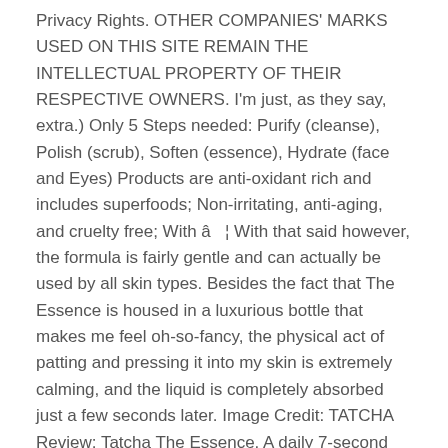Privacy Rights. OTHER COMPANIES' MARKS USED ON THIS SITE REMAIN THE INTELLECTUAL PROPERTY OF THEIR RESPECTIVE OWNERS. I'm just, as they say, extra.) Only 5 Steps needed: Purify (cleanse), Polish (scrub), Soften (essence), Hydrate (face and Eyes) Products are anti-oxidant rich and includes superfoods; Non-irritating, anti-aging, and cruelty free; With â¦ With that said however, the formula is fairly gentle and can actually be used by all skin types. Besides the fact that The Essence is housed in a luxurious bottle that makes me feel oh-so-fancy, the physical act of patting and pressing it into my skin is extremely calming, and the liquid is completely absorbed just a few seconds later. Image Credit: TATCHA Review: Tatcha The Essence. A daily 7-second ritual to reveal your softest, most youthful skin, delivering: Anti-aging: Pure, 98.7% Hadasei-